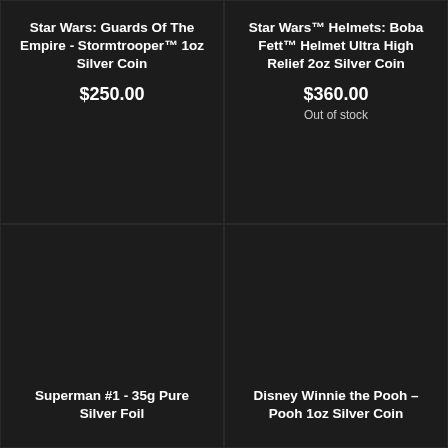Star Wars: Guards Of The Empire - Stormtrooper™ 1oz Silver Coin
$250.00
Star Wars™ Helmets: Boba Fett™ Helmet Ultra High Relief 2oz Silver Coin
$360.00
Out of stock
Superman #1 - 35g Pure Silver Foil
Disney Winnie the Pooh – Pooh 1oz Silver Coin